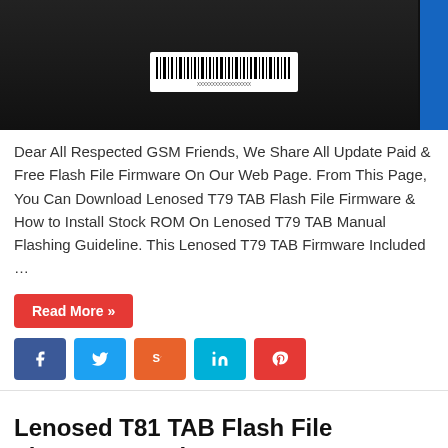[Figure (photo): Top portion of a dark-colored device (tablet or phone) back, showing a barcode/label sticker. A blue strip is visible on the right edge.]
Dear All Respected GSM Friends, We Share All Update Paid & Free Flash File Firmware On Our Web Page. From This Page, You Can Download Lenosed T79 TAB Flash File Firmware & How to Install Stock ROM On Lenosed T79 TAB Manual Flashing Guideline. This Lenosed T79 TAB Firmware Included …
Read More »
[Figure (other): Social media share buttons: Facebook (blue), Twitter (light blue), StumbleUpon (orange), LinkedIn (cyan), Pinterest (red)]
Lenosed T81 TAB Flash File Firmware Stock Rom
Gsm Rokon   April 3, 2021   Lenosed   255
[Figure (photo): Partial bottom image of a Lenovo tablet showing 'leno' text (part of Lenovo branding) on a dark purple/blue background.]